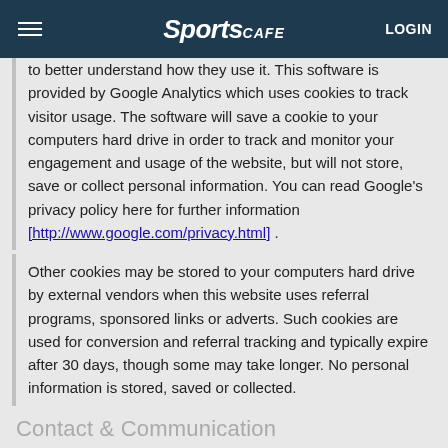SportsCafe LOGIN
to better understand how they use it. This software is provided by Google Analytics which uses cookies to track visitor usage. The software will save a cookie to your computers hard drive in order to track and monitor your engagement and usage of the website, but will not store, save or collect personal information. You can read Google's privacy policy here for further information [http://www.google.com/privacy.html] .
Other cookies may be stored to your computers hard drive by external vendors when this website uses referral programs, sponsored links or adverts. Such cookies are used for conversion and referral tracking and typically expire after 30 days, though some may take longer. No personal information is stored, saved or collected.
Contact & Communication
Users contacting this website and/or its owners do so at their own discretion and provide any such personal details requested at their own risk. Your personal information is